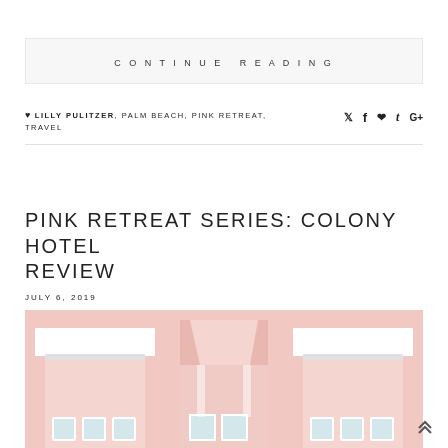CONTINUE READING
♥ LILLY PULITZER, PALM BEACH, PINK RETREAT, TRAVEL
PINK RETREAT SERIES: COLONY HOTEL REVIEW
JULY 6, 2019
[Figure (photo): Exterior of the Colony Hotel in Palm Beach, showing pink pastel facade with white architectural details, awnings, and windows in an Art Deco style.]